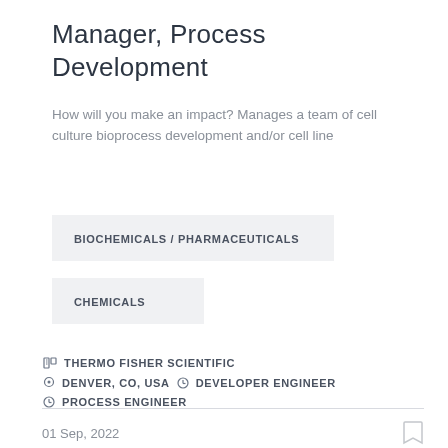Manager, Process Development
How will you make an impact? Manages a team of cell culture bioprocess development and/or cell line
BIOCHEMICALS / PHARMACEUTICALS
CHEMICALS
THERMO FISHER SCIENTIFIC
DENVER, CO, USA   DEVELOPER ENGINEER
PROCESS ENGINEER
01 Sep, 2022